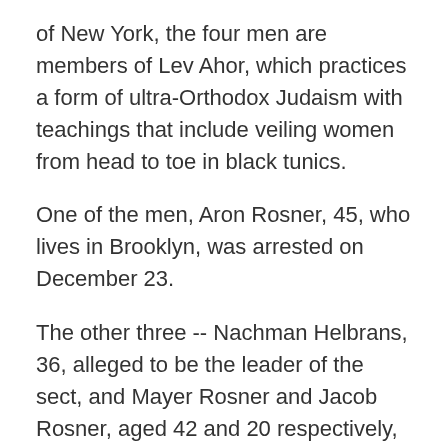of New York, the four men are members of Lev Ahor, which practices a form of ultra-Orthodox Judaism with teachings that include veiling women from head to toe in black tunics.
One of the men, Aron Rosner, 45, who lives in Brooklyn, was arrested on December 23.
The other three -- Nachman Helbrans, 36, alleged to be the leader of the sect, and Mayer Rosner and Jacob Rosner, aged 42 and 20 respectively, all living in Guatemala -- were deported on Thursday from Mexico, where they had taken the children, and arrested on their arrival in New York the same day.
They stand accused of organizing the kidnapping on December 8 of a 14-year-old girl and her brother, 12,